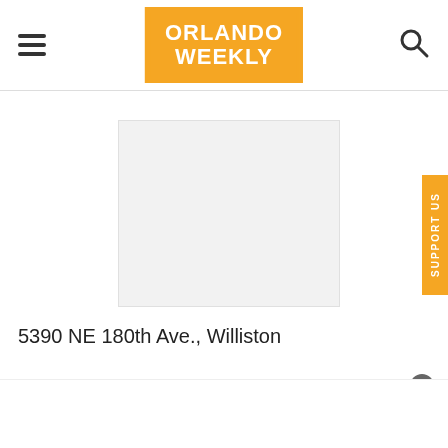Orlando Weekly
[Figure (other): Advertisement placeholder box, light gray background]
[Figure (other): Support Us vertical orange button on right edge]
5390 NE 180th Ave., Williston
You can't say the words on your own here, and the website